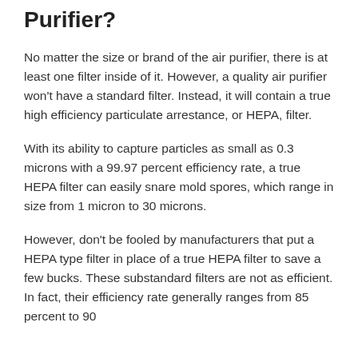Purifier?
No matter the size or brand of the air purifier, there is at least one filter inside of it. However, a quality air purifier won't have a standard filter. Instead, it will contain a true high efficiency particulate arrestance, or HEPA, filter.
With its ability to capture particles as small as 0.3 microns with a 99.97 percent efficiency rate, a true HEPA filter can easily snare mold spores, which range in size from 1 micron to 30 microns.
However, don't be fooled by manufacturers that put a HEPA type filter in place of a true HEPA filter to save a few bucks. These substandard filters are not as efficient. In fact, their efficiency rate generally ranges from 85 percent to 90